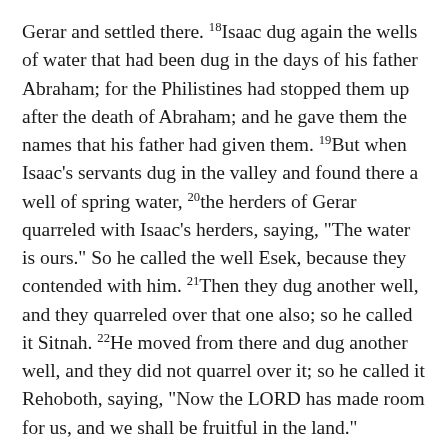Gerar and settled there. 18Isaac dug again the wells of water that had been dug in the days of his father Abraham; for the Philistines had stopped them up after the death of Abraham; and he gave them the names that his father had given them. 19But when Isaac's servants dug in the valley and found there a well of spring water, 20the herders of Gerar quarreled with Isaac's herders, saying, "The water is ours." So he called the well Esek, because they contended with him. 21Then they dug another well, and they quarreled over that one also; so he called it Sitnah. 22He moved from there and dug another well, and they did not quarrel over it; so he called it Rehoboth, saying, "Now the LORD has made room for us, and we shall be fruitful in the land."
23From there he went up to Beer-sheba. 24And that very night the LORD appeared to him and said, "I am the God of your father Abraham; do not be afraid, for I am with you and will bless you and make your offspring numerous for my servant Abraham's sake." 25...